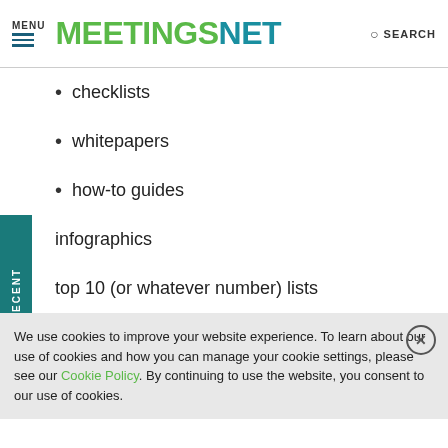MENU | MEETINGSNET | SEARCH
checklists
whitepapers
how-to guides
infographics
top 10 (or whatever number) lists
We use cookies to improve your website experience. To learn about our use of cookies and how you can manage your cookie settings, please see our Cookie Policy. By continuing to use the website, you consent to our use of cookies.